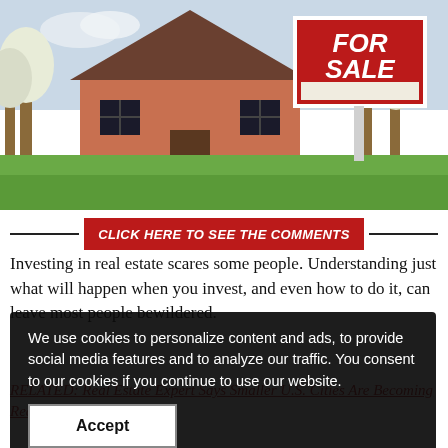[Figure (photo): Photograph of a suburban house with green lawn and a red FOR SALE sign in the yard]
CLICK HERE TO SEE THE COMMENTS
Investing in real estate scares some people. Understanding just what will happen when you invest, and even how to do it, can leave most people bewildered.
We use cookies to personalize content and ads, to provide social media features and to analyze our traffic. You consent to our cookies if you continue to use our website.
Accept
RELATED: Real Estate Expert Says Smaller U.S. Cities Are Becoming Real Estate Hotspots